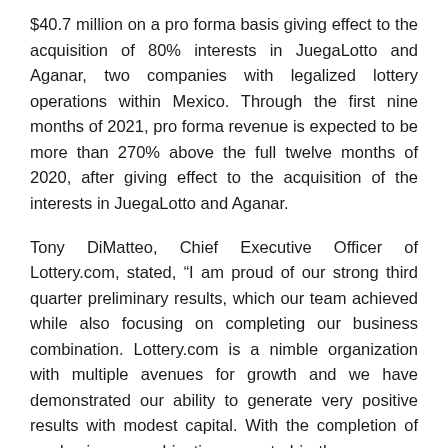$40.7 million on a pro forma basis giving effect to the acquisition of 80% interests in JuegaLotto and Aganar, two companies with legalized lottery operations within Mexico. Through the first nine months of 2021, pro forma revenue is expected to be more than 270% above the full twelve months of 2020, after giving effect to the acquisition of the interests in JuegaLotto and Aganar.
Tony DiMatteo, Chief Executive Officer of Lottery.com, stated, “I am proud of our strong third quarter preliminary results, which our team achieved while also focusing on completing our business combination. Lottery.com is a nimble organization with multiple avenues for growth and we have demonstrated our ability to generate very positive results with modest capital. With the completion of our business combination expected in the very near future, we anticipate using the proceeds from the business combination to accelerate growth by leveraging our favorable customer acquisition costs in continuing to